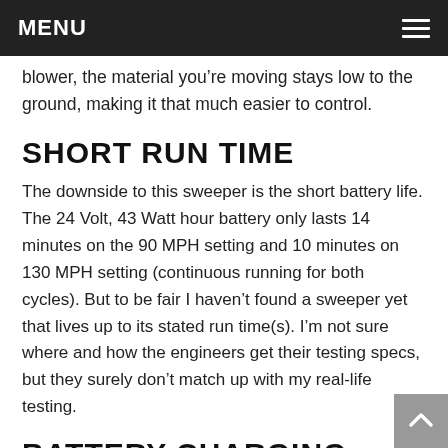MENU
blower, the material you're moving stays low to the ground, making it that much easier to control.
SHORT RUN TIME
The downside to this sweeper is the short battery life. The 24 Volt, 43 Watt hour battery only lasts 14 minutes on the 90 MPH setting and 10 minutes on 130 MPH setting (continuous running for both cycles). But to be fair I haven't found a sweeper yet that lives up to its stated run time(s). I'm not sure where and how the engineers get their testing specs, but they surely don't match up with my real-life testing.
BATTERY CHARGING ISSUES